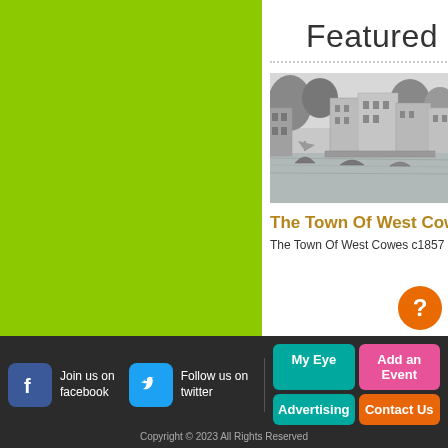Featured
[Figure (photo): Black and white historical sketch/engraving of The Town Of West Cowes circa 1857, showing waterfront buildings and boats on water]
The Town Of West Cow...
The Town Of West Cowes c1857
Join us on facebook | Follow us on twitter | My Eye | Add an Event | Advertising | Contact Us | Copyright © 2023 All Rights Reserved